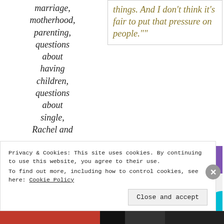marriage, motherhood, parenting, questions about having children, questions about single, Rachel and
things. And I don't think it's fair to put that pressure on people.""
[Figure (advertisement): WooCommerce advertisement banner: How to start selling subscriptions online]
Privacy & Cookies: This site uses cookies. By continuing to use this website, you agree to their use. To find out more, including how to control cookies, see here: Cookie Policy
Close and accept